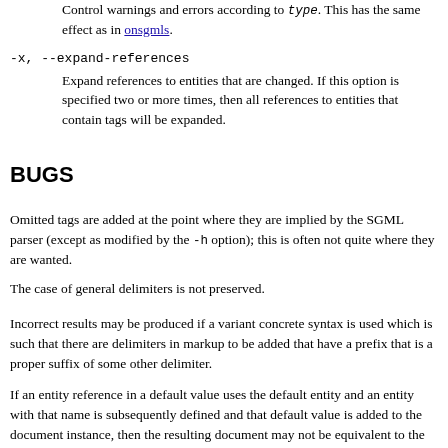Control warnings and errors according to type. This has the same effect as in onsgmls.
-x, --expand-references
Expand references to entities that are changed. If this option is specified two or more times, then all references to entities that contain tags will be expanded.
BUGS
Omitted tags are added at the point where they are implied by the SGML parser (except as modified by the -h option); this is often not quite where they are wanted.
The case of general delimiters is not preserved.
Incorrect results may be produced if a variant concrete syntax is used which is such that there are delimiters in markup to be added that have a prefix that is a proper suffix of some other delimiter.
If an entity reference in a default value uses the default entity and an entity with that name is subsequently defined and that default value is added to the document instance, then the resulting document may not be equivalent to the original document. Ospam will give a warning when the first two conditions are met.